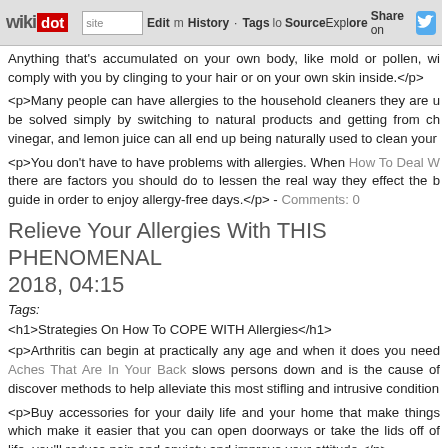wikidot | site | Edit | History | Tags | Source | Explore | Share on Twitter
Anything that's accumulated on your own body, like mold or pollen, wi comply with you by clinging to your hair or on your own skin inside.</p>
<p>Many people can have allergies to the household cleaners they are u be solved simply by switching to natural products and getting from ch vinegar, and lemon juice can all end up being naturally used to clean your
<p>You don't have to have problems with allergies. When How To Deal W there are factors you should do to lessen the real way they effect the b guide in order to enjoy allergy-free days.</p> - Comments: 0
Relieve Your Allergies With THIS PHENOMENAL 2018, 04:15
Tags:
<h1>Strategies On How To COPE WITH Allergies</h1>
<p>Arthritis can begin at practically any age and when it does you need Aches That Are In Your Back slows persons down and is the cause of discover methods to help alleviate this most stifling and intrusive condition
<p>Buy accessories for your daily life and your home that make things which make it easier that you can open doorways or take the lids off of life, you'll reduce pain and anxiety and improve your attitude.</p>
<p>Keep joints strong by working on good posture. The better you joi Stand up straight, and do not slump over when you sit down. Try to ha